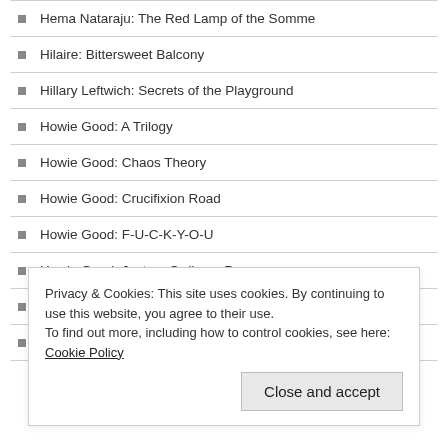Hema Nataraju: The Red Lamp of the Somme
Hilaire: Bittersweet Balcony
Hillary Leftwich: Secrets of the Playground
Howie Good: A Trilogy
Howie Good: Chaos Theory
Howie Good: Crucifixion Road
Howie Good: F-U-C-K-Y-O-U
Howie Good: Just an Ordinary Day
Howie Good: Ladders Cross the Blue Sky in a Wheel of Fire
Howie Good: Languishment
Privacy & Cookies: This site uses cookies. By continuing to use this website, you agree to their use. To find out more, including how to control cookies, see here: Cookie Policy
Close and accept